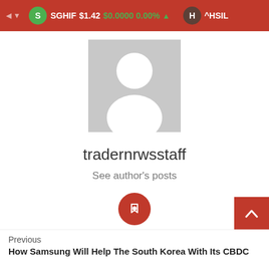SGHIF $1.42 $0.0000 0.00% ▲ ^HSIL
[Figure (illustration): Generic gray user avatar placeholder image with white silhouette (head and shoulders)]
tradernrwsstaff
See author's posts
[Figure (illustration): Red circular button with a white bookmark/tag icon]
Previous
How Samsung Will Help The South Korea With Its CBDC